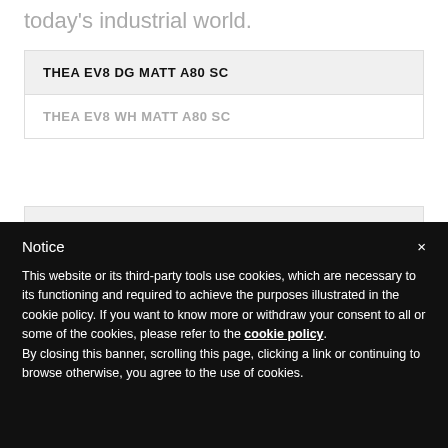today's industrial world.
| THEA EV8 DG MATT A80 SC |
| THEA EV8 WH MATT A80 SC |
Notice
×
This website or its third-party tools use cookies, which are necessary to its functioning and required to achieve the purposes illustrated in the cookie policy. If you want to know more or withdraw your consent to all or some of the cookies, please refer to the cookie policy. By closing this banner, scrolling this page, clicking a link or continuing to browse otherwise, you agree to the use of cookies.